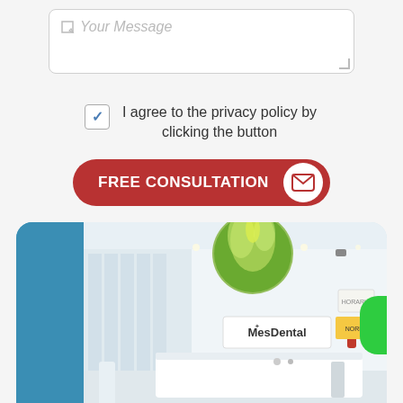[Figure (screenshot): Text area input field with placeholder text 'Your Message' and a resize handle in the bottom right corner]
I agree to the privacy policy by clicking the button
FREE CONSULTATION
[Figure (photo): Interior of MesDental clinic showing a bright white reception area with a MesDental sign on the wall, circular nature-themed ceiling art, and a reception desk]